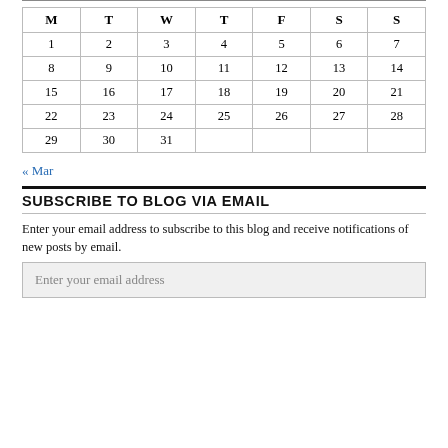| M | T | W | T | F | S | S |
| --- | --- | --- | --- | --- | --- | --- |
| 1 | 2 | 3 | 4 | 5 | 6 | 7 |
| 8 | 9 | 10 | 11 | 12 | 13 | 14 |
| 15 | 16 | 17 | 18 | 19 | 20 | 21 |
| 22 | 23 | 24 | 25 | 26 | 27 | 28 |
| 29 | 30 | 31 |  |  |  |  |
« Mar
SUBSCRIBE TO BLOG VIA EMAIL
Enter your email address to subscribe to this blog and receive notifications of new posts by email.
Enter your email address